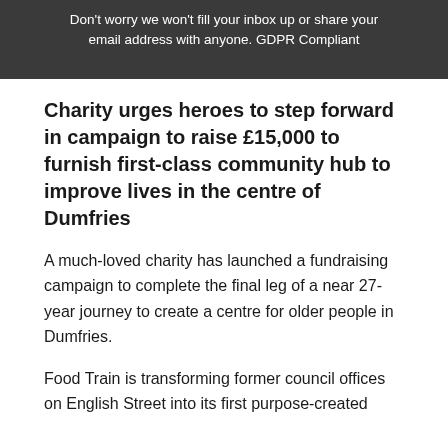Don't worry we won't fill your inbox up or share your email address with anyone. GDPR Compliant
Charity urges heroes to step forward in campaign to raise £15,000 to furnish first-class community hub to improve lives in the centre of Dumfries
A much-loved charity has launched a fundraising campaign to complete the final leg of a near 27-year journey to create a centre for older people in Dumfries.
Food Train is transforming former council offices on English Street into its first purpose-created